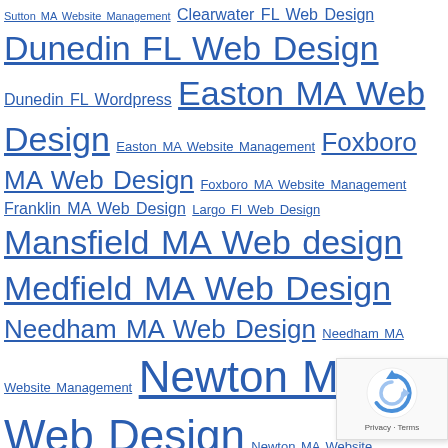Sutton MA Website Management  Clearwater FL Web Design  Dunedin FL Web Design  Dunedin FL Wordpress  Easton MA Web Design  Easton MA Website Management  Foxboro MA Web Design  Foxboro MA Website Management  Franklin MA Web Design  Largo Fl Web Design  Mansfield MA Web design  Medfield MA Web Design  Needham MA Web Design  Needham MA Website Management  Newton MA Web Design  Newton MA Website Management  Norfolk MA Web Design  Norfolk MA Website Management  Norwood MA Web Design  Oldsmar FL Web Design  Palm Harbor FL Web Design  Quincy MA Web Design  Safety Harbor FL Web Design  Seminole FL Web Design  Sharon MA Web Design  Sharon MA Website Management  Stoughton MA Web Design  Stoughton MA Website Management  Tampa FL Web Design  Tarpon Springs FL Web Design  Walpole MA Web Design  Web Design Boston  wellesley ma web design  Weston MA Web Design  Westwood MA Web Design  Wrentham MA Web Design
[Figure (other): reCAPTCHA widget showing the reCAPTCHA logo (circular arrow icon in blue) and 'Privacy - Terms' text below]